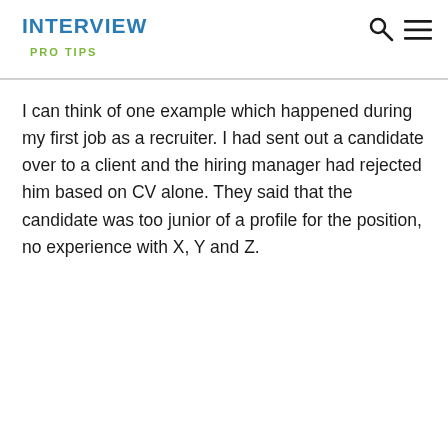INTERVIEW PRO TIPS
I can think of one example which happened during my first job as a recruiter. I had sent out a candidate over to a client and the hiring manager had rejected him based on CV alone. They said that the candidate was too junior of a profile for the position, no experience with X, Y and Z.